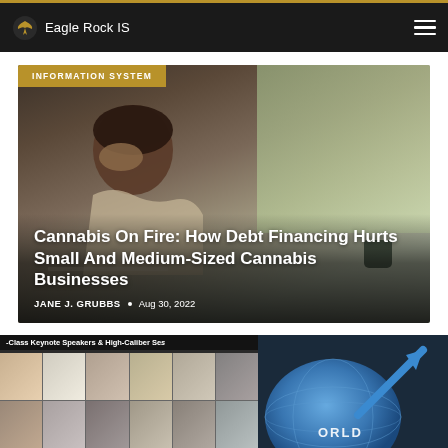Eagle Rock IS
[Figure (photo): Article hero image: stressed businessperson with head in hands at desk with laptop; green background. Category badge: INFORMATION SYSTEM]
Cannabis On Fire: How Debt Financing Hurts Small And Medium-Sized Cannabis Businesses
JANE J. GRUBBS • Aug 30, 2022
[Figure (photo): Partial banner: -Class Keynote Speakers & High-Caliber Ses with grid of headshot photos below]
[Figure (illustration): Partial graphic: blue globe or sphere with upward blue arrow, partial text ORLD visible]